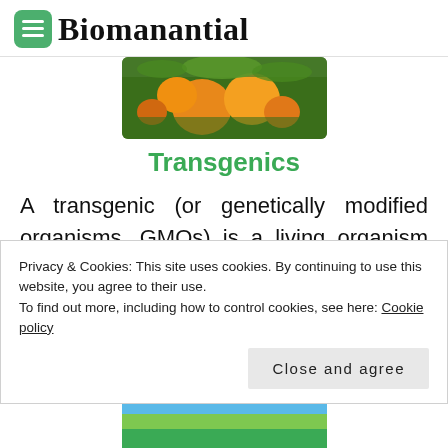Biomanantial
[Figure (photo): Photo of oranges on a tree with green leaves]
Transgenics
A transgenic (or genetically modified organisms, GMOs) is a living organism that has been created [...]
[Figure (photo): Partial photo showing blue sky and person]
Privacy & Cookies: This site uses cookies. By continuing to use this website, you agree to their use.
To find out more, including how to control cookies, see here: Cookie policy
[Figure (photo): Bottom partial photo with green and blue tones]